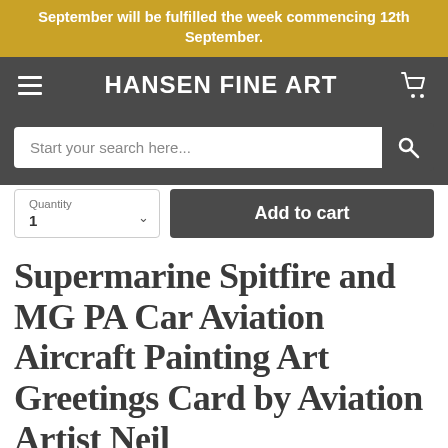September will be fulfilled the week commencing 12th September.
HANSEN FINE ART
Start your search here...
Quantity
1
Add to cart
Supermarine Spitfire and MG PA Car Aviation Aircraft Painting Art Greetings Card by Aviation Artist Neil